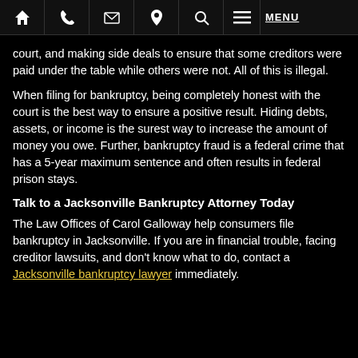Navigation bar with home, phone, email, location, search, and MENU icons
court, and making side deals to ensure that some creditors were paid under the table while others were not. All of this is illegal.
When filing for bankruptcy, being completely honest with the court is the best way to ensure a positive result. Hiding debts, assets, or income is the surest way to increase the amount of money you owe. Further, bankruptcy fraud is a federal crime that has a 5-year maximum sentence and often results in federal prison stays.
Talk to a Jacksonville Bankruptcy Attorney Today
The Law Offices of Carol Galloway help consumers file bankruptcy in Jacksonville. If you are in financial trouble, facing creditor lawsuits, and don't know what to do, contact a Jacksonville bankruptcy lawyer immediately.